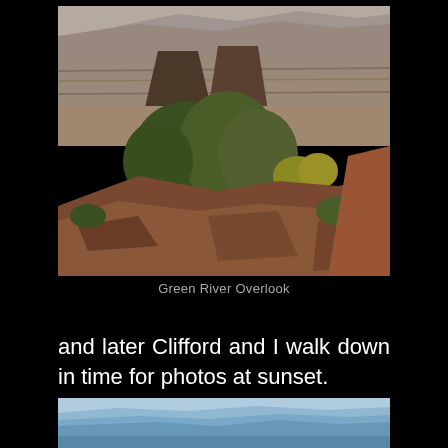[Figure (photo): Aerial/overlook view of canyon landscape with scrubby green vegetation in foreground, red/tan sandstone rocks, and a vast canyon basin with mesas and dry riverbeds in the background under hazy sky. Green River Overlook at Canyonlands.]
Green River Overlook
and later Clifford and I walk down in time for photos at sunset.
[Figure (photo): Hazy blue-toned panoramic photo of canyon landscape at or near sunset, showing layered canyon walls and mesas in soft blue-purple haze.]